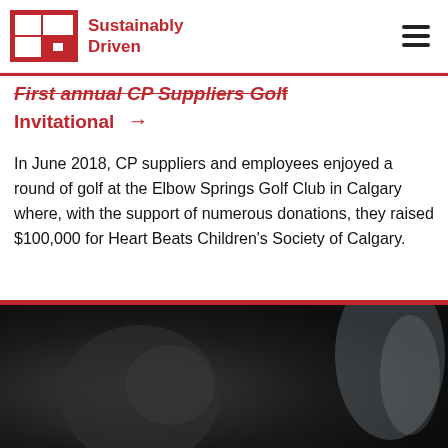CP Sustainably Driven
First annual CP Suppliers Golf Invitational →
In June 2018, CP suppliers and employees enjoyed a round of golf at the Elbow Springs Golf Club in Calgary where, with the support of numerous donations, they raised $100,000 for Heart Beats Children's Society of Calgary.
[Figure (photo): Dark photograph showing a close-up of what appears to be a dark surface or object, with a light/white element visible at the right edge.]